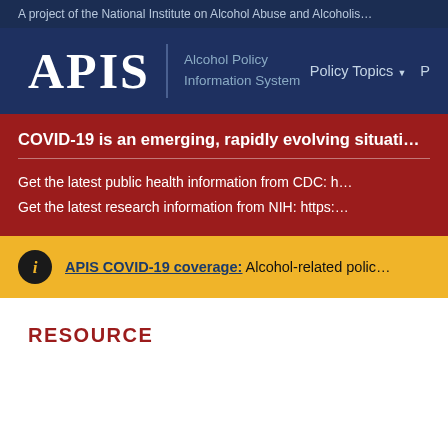A project of the National Institute on Alcohol Abuse and Alcoholis…
APIS | Alcohol Policy Information System
Policy Topics ▾  P…
COVID-19 is an emerging, rapidly evolving situati…
Get the latest public health information from CDC: h…
Get the latest research information from NIH: https:…
APIS COVID-19 coverage: Alcohol-related polic…
RESOURCE